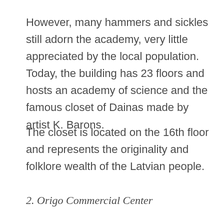However, many hammers and sickles still adorn the academy, very little appreciated by the local population. Today, the building has 23 floors and hosts an academy of science and the famous closet of Dainas made by artist K. Barons.
The closet is located on the 16th floor and represents the originality and folklore wealth of the Latvian people.
2. Origo Commercial Center